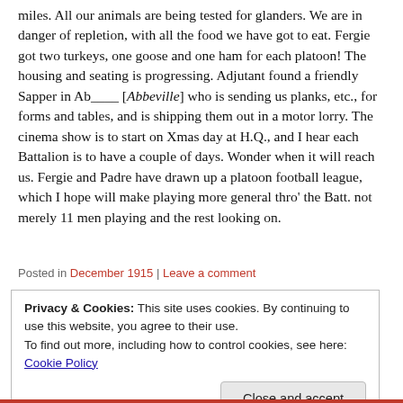miles. All our animals are being tested for glanders. We are in danger of repletion, with all the food we have got to eat. Fergie got two turkeys, one goose and one ham for each platoon! The housing and seating is progressing. Adjutant found a friendly Sapper in Ab____ [Abbeville] who is sending us planks, etc., for forms and tables, and is shipping them out in a motor lorry. The cinema show is to start on Xmas day at H.Q., and I hear each Battalion is to have a couple of days. Wonder when it will reach us. Fergie and Padre have drawn up a platoon football league, which I hope will make playing more general thro' the Batt. not merely 11 men playing and the rest looking on.
Posted in December 1915 | Leave a comment
Privacy & Cookies: This site uses cookies. By continuing to use this website, you agree to their use. To find out more, including how to control cookies, see here: Cookie Policy
Close and accept